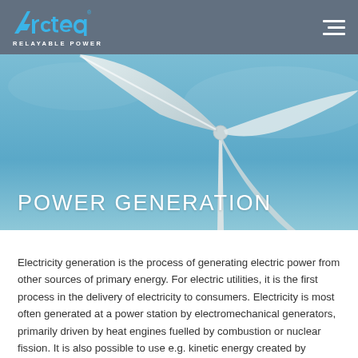[Figure (logo): Arcteq logo with blue stylized text and 'RELAYABLE POWER' tagline in white on grey header bar]
[Figure (photo): Aerial photo of wind turbine blades against a blue sky with the text 'POWER GENERATION' overlaid in large white letters]
Electricity generation is the process of generating electric power from other sources of primary energy. For electric utilities, it is the first process in the delivery of electricity to consumers. Electricity is most often generated at a power station by electromechanical generators, primarily driven by heat engines fuelled by combustion or nuclear fission. It is also possible to use e.g. kinetic energy created by flowing water and wind. Other energy sources include solar photovoltaics and geothermal power.